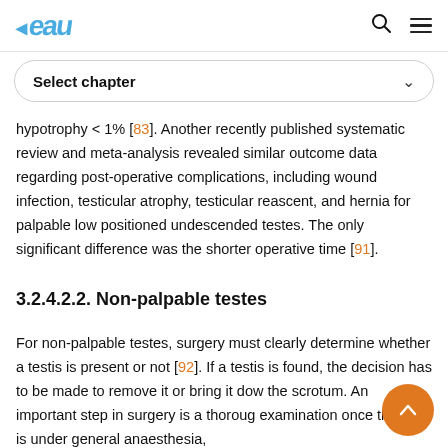EAU logo and navigation icons
Select chapter
hypotrophy < 1% [83]. Another recently published systematic review and meta-analysis revealed similar outcome data regarding post-operative complications, including wound infection, testicular atrophy, testicular reascent, and hernia for palpable low positioned undescended testes. The only significant difference was the shorter operative time [91].
3.2.4.2.2. Non-palpable testes
For non-palpable testes, surgery must clearly determine whether a testis is present or not [92]. If a testis is found, the decision has to be made to remove it or bring it down the scrotum. An important step in surgery is a thorough examination once the boy is under general anaesthesia,